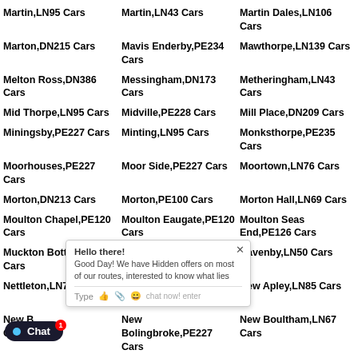Martin,LN95 Cars
Martin,LN43 Cars
Martin Dales,LN106 Cars
Marton,DN215 Cars
Mavis Enderby,PE234 Cars
Mawthorpe,LN139 Cars
Melton Ross,DN386 Cars
Messingham,DN173 Cars
Metheringham,LN43 Cars
Mid Thorpe,LN95 Cars
Midville,PE228 Cars
Mill Place,DN209 Cars
Miningsby,PE227 Cars
Minting,LN95 Cars
Monksthorpe,PE235 Cars
Moorhouses,PE227 Cars
Moor Side,PE227 Cars
Moortown,LN76 Cars
Morton,DN213 Cars
Morton,PE100 Cars
Morton Hall,LN69 Cars
Moulton Chapel,PE120 Cars
Moulton Eaugate,PE120 Cars
Moulton Seas End,PE126 Cars
Muckton Bottom,LN118 Cars
Mumby,LN139 Cars
Navenby,LN50 Cars
Nettleton,LN76 Cars
Nettleton Top,LN76 Cars
New Apley,LN85 Cars
New Bolingbroke,PE227 Cars
New Boultham,LN67 Cars
New Leake,PE228 Cars
New Quarrington,NG347 Cars
Newton by Toft,LN83 Cars
Newtoft,LN83 Cars
Newton,NG340 Cars